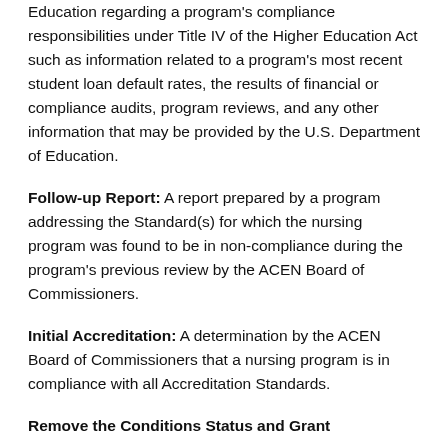Education regarding a program's compliance responsibilities under Title IV of the Higher Education Act such as information related to a program's most recent student loan default rates, the results of financial or compliance audits, program reviews, and any other information that may be provided by the U.S. Department of Education.
Follow-up Report: A report prepared by a program addressing the Standard(s) for which the nursing program was found to be in non-compliance during the program's previous review by the ACEN Board of Commissioners.
Initial Accreditation: A determination by the ACEN Board of Commissioners that a nursing program is in compliance with all Accreditation Standards.
Remove the Conditions Status and Grant